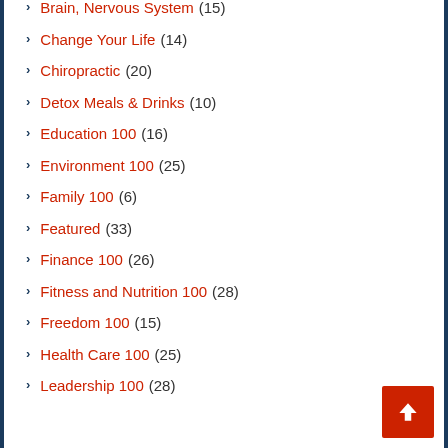Brain, Nervous System (15)
Change Your Life (14)
Chiropractic (20)
Detox Meals & Drinks (10)
Education 100 (16)
Environment 100 (25)
Family 100 (6)
Featured (33)
Finance 100 (26)
Fitness and Nutrition 100 (28)
Freedom 100 (15)
Health Care 100 (25)
Leadership 100 (28)